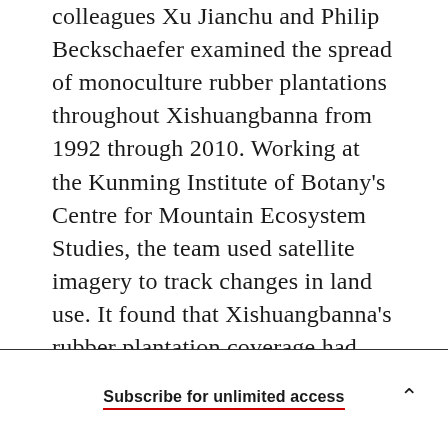colleagues Xu Jianchu and Philip Beckschaefer examined the spread of monoculture rubber plantations throughout Xishuangbanna from 1992 through 2010. Working at the Kunming Institute of Botany's Centre for Mountain Ecosystem Studies, the team used satellite imagery to track changes in land use. It found that Xishuangbanna's rubber plantation coverage had exploded over the 18-year period. In the 10 years from 1992 through 2002, the total area covered by rubber farms in Xishuangbanna jumped 77 percent, to 380 acres, while in the following eight years rubber coverage jumped 177 percent to 1,050 acres.
Subscribe for unlimited access